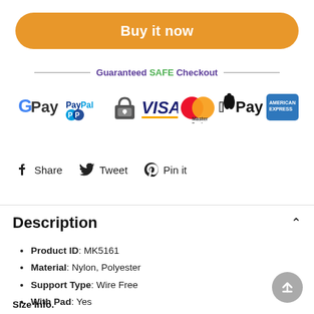Buy it now
Guaranteed SAFE Checkout
[Figure (logo): Payment method logos: Google Pay, PayPal, SSL Secure, VISA, MasterCard, Apple Pay, American Express]
Share   Tweet   Pin it
Description
Product ID: MK5161
Material: Nylon, Polyester
Support Type: Wire Free
With Pad: Yes
Color: White, Blue
Package Includes: Sweatshirt, Shorts
Size Info.